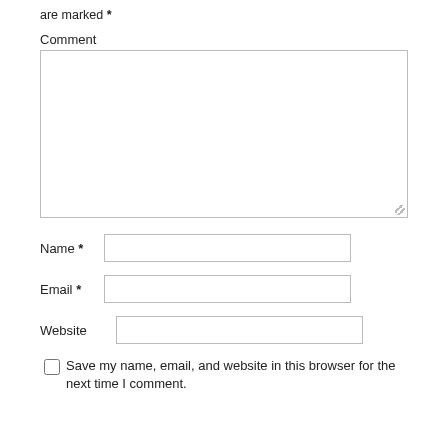are marked *
Comment
Name *
Email *
Website
Save my name, email, and website in this browser for the next time I comment.